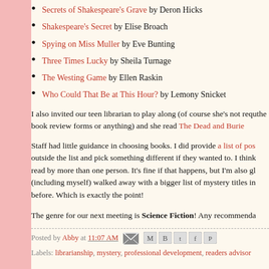Secrets of Shakespeare's Grave by Deron Hicks
Shakespeare's Secret by Elise Broach
Spying on Miss Muller by Eve Bunting
Three Times Lucky by Sheila Turnage
The Westing Game by Ellen Raskin
Who Could That Be at This Hour? by Lemony Snicket
I also invited our teen librarian to play along (of course she's not requ... the book review forms or anything) and she read The Dead and Burie...
Staff had little guidance in choosing books. I did provide a list of pos... outside the list and pick something different if they wanted to. I think... read by more than one person. It's fine if that happens, but I'm also gl... (including myself) walked away with a bigger list of mystery titles in... before. Which is exactly the point!
The genre for our next meeting is Science Fiction! Any recommenda...
Posted by Abby at 11:07 AM
Labels: librarianship, mystery, professional development, readers advisor